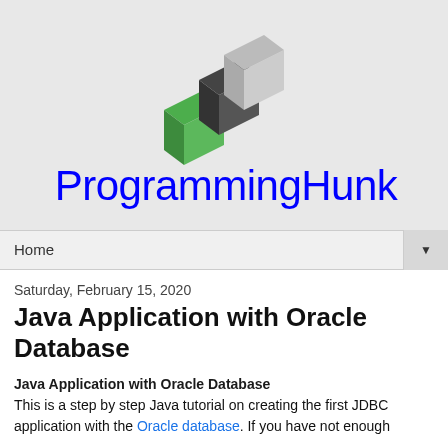[Figure (logo): ProgrammingHunk logo: abstract 3D geometric shape with green and dark gray blocks]
ProgrammingHunk
Home ▼
Saturday, February 15, 2020
Java Application with Oracle Database
Java Application with Oracle Database
This is a step by step Java tutorial on creating the first JDBC application with the Oracle database. If you have not enough